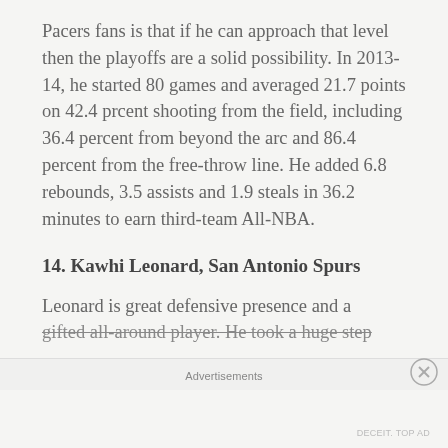Pacers fans is that if he can approach that level then the playoffs are a solid possibility. In 2013-14, he started 80 games and averaged 21.7 points on 42.4 prcent shooting from the field, including 36.4 percent from beyond the arc and 86.4 percent from the free-throw line. He added 6.8 rebounds, 3.5 assists and 1.9 steals in 36.2 minutes to earn third-team All-NBA.
14. Kawhi Leonard, San Antonio Spurs
Leonard is great defensive presence and a gifted all-around player. He took a huge step
Advertisements